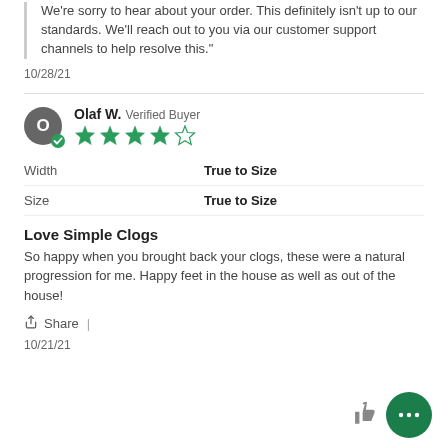We're sorry to hear about your order. This definitely isn't up to our standards. We'll reach out to you via our customer support channels to help resolve this."
10/28/21
Olaf W. Verified Buyer
[Figure (other): 4 out of 5 star rating shown with green filled stars and one outline star]
| Attribute | Value |
| --- | --- |
| Width | True to Size |
| Size | True to Size |
Love Simple Clogs
So happy when you brought back your clogs, these were a natural progression for me. Happy feet in the house as well as out of the house!
Share |
10/21/21